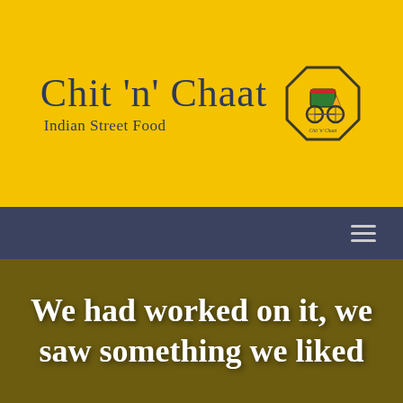[Figure (logo): Chit 'n' Chaat Indian Street Food logo with brand name text and an octagonal emblem showing a cycle rickshaw]
We had worked on it, we saw something we liked